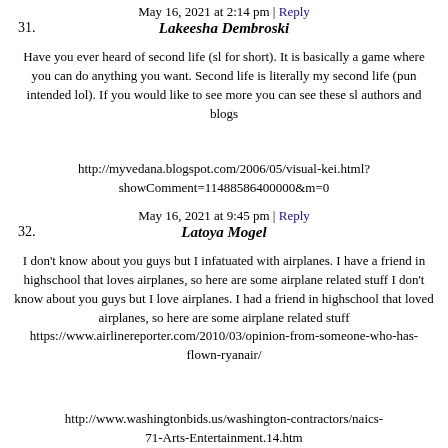May 16, 2021 at 2:14 pm | Reply
31.  Lakeesha Dembroski
Have you ever heard of second life (sl for short). It is basically a game where you can do anything you want. Second life is literally my second life (pun intended lol). If you would like to see more you can see these sl authors and blogs
http://myvedana.blogspot.com/2006/05/visual-kei.html?showComment=11488586400000&m=0
May 16, 2021 at 9:45 pm | Reply
32.  Latoya Mogel
I don't know about you guys but I infatuated with airplanes. I have a friend in highschool that loves airplanes, so here are some airplane related stuff I don't know about you guys but I love airplanes. I had a friend in highschool that loved airplanes, so here are some airplane related stuff https://www.airlinereporter.com/2010/03/opinion-from-someone-who-has-flown-ryanair/
http://www.washingtonbids.us/washington-contractors/naics-71-Arts-Entertainment.14.htm